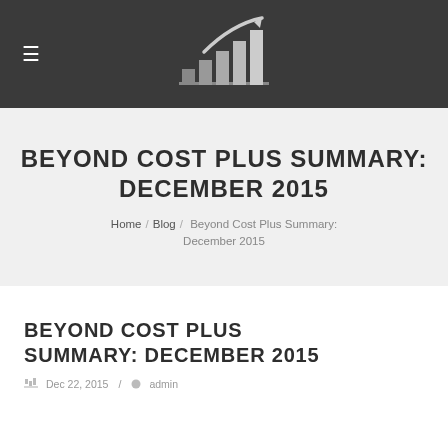[Figure (logo): Bar chart with upward arrow logo on dark background, with hamburger menu icon on the left]
BEYOND COST PLUS SUMMARY: DECEMBER 2015
Home / Blog / Beyond Cost Plus Summary: December 2015
BEYOND COST PLUS SUMMARY: DECEMBER 2015
Dec 22, 2015 / admin